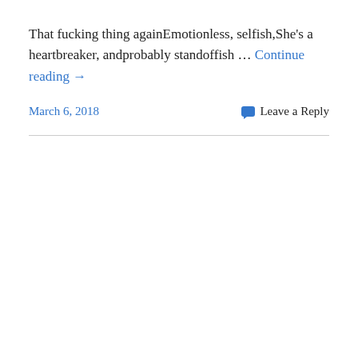That fucking thing againEmotionless, selfish,She's a heartbreaker, andprobably standoffish … Continue reading →
March 6, 2018    Leave a Reply